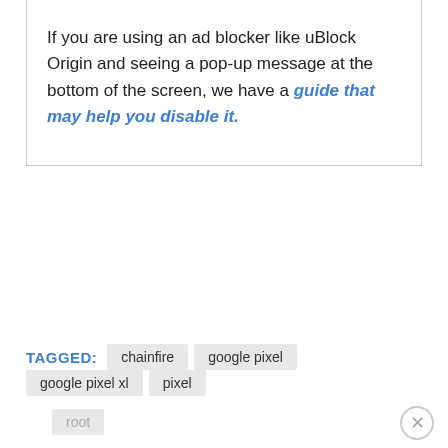If you are using an ad blocker like uBlock Origin and seeing a pop-up message at the bottom of the screen, we have a guide that may help you disable it.
TAGGED: chainfire  google pixel  google pixel xl  pixel
root